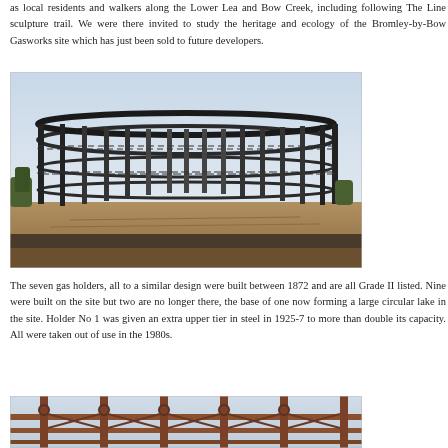as local residents and walkers along the Lower Lea and Bow Creek, including following The Line sculpture trail. We were there invited to study the heritage and ecology of the Bromley-by-Bow Gasworks site which has just been sold to future developers.
[Figure (photo): Photograph of the Bromley-by-Bow Gasworks — a large circular iron gas holder frame structure standing on a sandy cleared ground, viewed from the front. The structure has multiple vertical columns and horizontal rings. Sky visible through the open frame.]
The seven gas holders, all to a similar design were built between 1872 and are all Grade II listed. Nine were built on the site but two are no longer there, the base of one now forming a large circular lake in the site. Holder No 1 was given an extra upper tier in steel in 1925-7 to more than double its capacity. All were taken out of use in the 1980s.
[Figure (photo): Close-up photograph of the ornate ironwork of the Bromley-by-Bow Gasworks gas holder frame, showing detailed decorative cast iron columns and horizontal lattice rails against a light sky.]